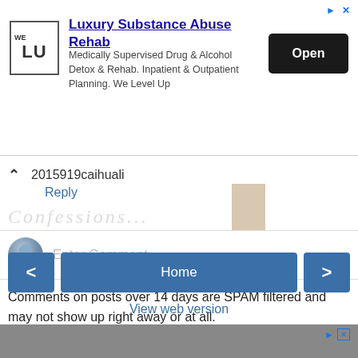[Figure (screenshot): Advertisement banner for 'Luxury Substance Abuse Rehab' with WE LU logo, description text, and Open button]
2015919caihuali
Reply
[Figure (screenshot): Blurred cursive text partially visible behind content]
[Figure (screenshot): User avatar circle with Enter Comment placeholder text input field]
Comments on posts over 14 days are SPAM filtered and may not show up right away or at all.
[Figure (screenshot): Handwritten signature reading M. E. THOMAS]
Home
View web version